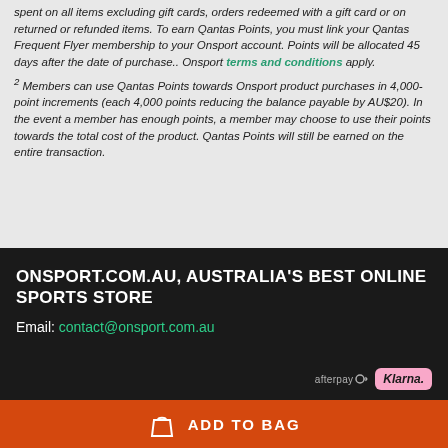spent on all items excluding gift cards, orders redeemed with a gift card or on returned or refunded items. To earn Qantas Points, you must link your Qantas Frequent Flyer membership to your Onsport account. Points will be allocated 45 days after the date of purchase.. Onsport terms and conditions apply.
2 Members can use Qantas Points towards Onsport product purchases in 4,000-point increments (each 4,000 points reducing the balance payable by AU$20). In the event a member has enough points, a member may choose to use their points towards the total cost of the product. Qantas Points will still be earned on the entire transaction.
ONSPORT.COM.AU, AUSTRALIA'S BEST ONLINE SPORTS STORE
Email: contact@onsport.com.au
[Figure (logo): Afterpay and Klarna payment method logos]
ADD TO BAG